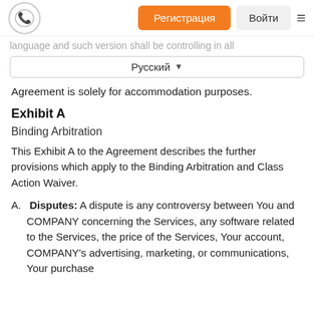Регистрация | Войти
language and such version shall be controlling in all
Русский
Agreement is solely for accommodation purposes.
Exhibit A
Binding Arbitration
This Exhibit A to the Agreement describes the further provisions which apply to the Binding Arbitration and Class Action Waiver.
A. Disputes: A dispute is any controversy between You and COMPANY concerning the Services, any software related to the Services, the price of the Services, Your account, COMPANY's advertising, marketing, or communications, Your purchase